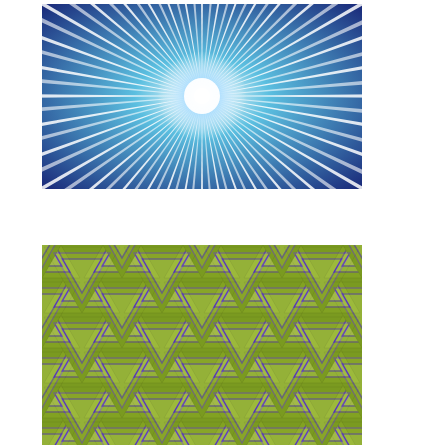[Figure (illustration): Blue and white sunburst/starburst radial pattern with spiraling rays emanating from a bright white center. The rays alternate between deep navy blue and white, creating a spinning vortex optical illusion effect.]
[Figure (illustration): Green and purple geometric repeating triangle pattern. The pattern consists of interlocking upward and downward pointing triangles in olive/lime green with purple outlines, arranged in a tessellated tiling pattern with a slight 3D gradient effect.]